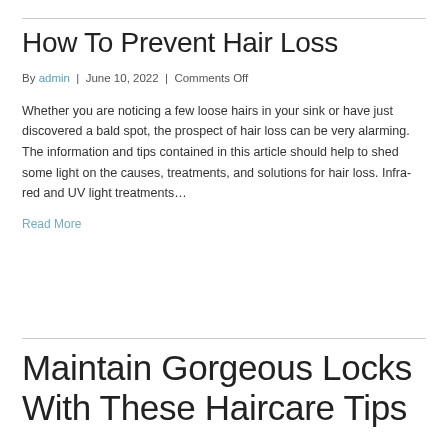How To Prevent Hair Loss
By admin | June 10, 2022 | Comments Off
Whether you are noticing a few loose hairs in your sink or have just discovered a bald spot, the prospect of hair loss can be very alarming. The information and tips contained in this article should help to shed some light on the causes, treatments, and solutions for hair loss. Infra-red and UV light treatments…
Read More
Maintain Gorgeous Locks With These Haircare Tips